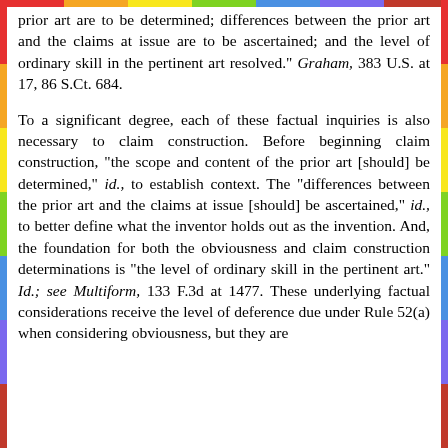prior art are to be determined; differences between the prior art and the claims at issue are to be ascertained; and the level of ordinary skill in the pertinent art resolved." Graham, 383 U.S. at 17, 86 S.Ct. 684.
To a significant degree, each of these factual inquiries is also necessary to claim construction. Before beginning claim construction, "the scope and content of the prior art [should] be determined," id., to establish context. The "differences between the prior art and the claims at issue [should] be ascertained," id., to better define what the inventor holds out as the invention. And, the foundation for both the obviousness and claim construction determinations is "the level of ordinary skill in the pertinent art." Id.; see Multiform, 133 F.3d at 1477. These underlying factual considerations receive the level of deference due under Rule 52(a) when considering obviousness, but they are